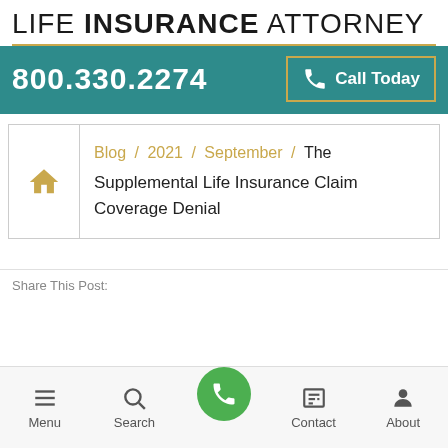LIFE INSURANCE ATTORNEY
800.330.2274  Call Today
Blog / 2021 / September / The Supplemental Life Insurance Claim Coverage Denial
Share This Post:
Menu  Search  [Phone]  Contact  About